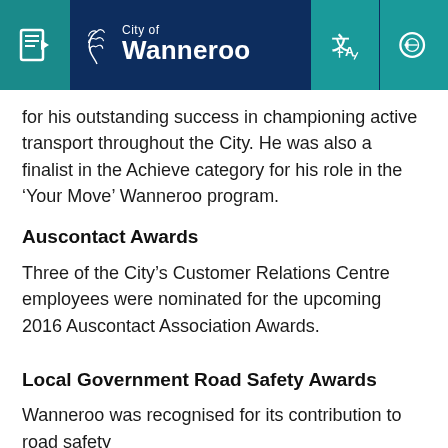City of Wanneroo
for his outstanding success in championing active transport throughout the City. He was also a finalist in the Achieve category for his role in the ‘Your Move’ Wanneroo program.
Auscontact Awards
Three of the City’s Customer Relations Centre employees were nominated for the upcoming 2016 Auscontact Association Awards.
Local Government Road Safety Awards
Wanneroo was recognised for its contribution to road safety